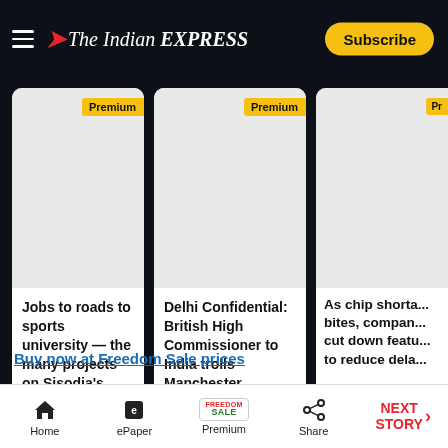The Indian EXPRESS — Subscribe
[Figure (screenshot): Three premium article cards: 1) Jobs to roads to sports university — the many projects on Sisodia's plate, 2) Delhi Confidential: British High Commissioner to India trolls Manchester ..., 3) As chip shorta... bites, compan... cut down feat... to reduce dela...]
Buy now at Freedom Sale prices
ADVERTISEMENT
Home | ePaper | Premium | Share | NEXT STORY